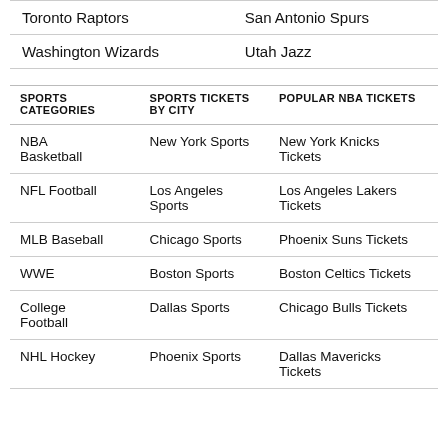| Toronto Raptors | San Antonio Spurs |
| Washington Wizards | Utah Jazz |
| Sports Categories | Sports Tickets By City | Popular NBA Tickets |
| --- | --- | --- |
| NBA Basketball | New York Sports | New York Knicks Tickets |
| NFL Football | Los Angeles Sports | Los Angeles Lakers Tickets |
| MLB Baseball | Chicago Sports | Phoenix Suns Tickets |
| WWE | Boston Sports | Boston Celtics Tickets |
| College Football | Dallas Sports | Chicago Bulls Tickets |
| NHL Hockey | Phoenix Sports | Dallas Mavericks Tickets |